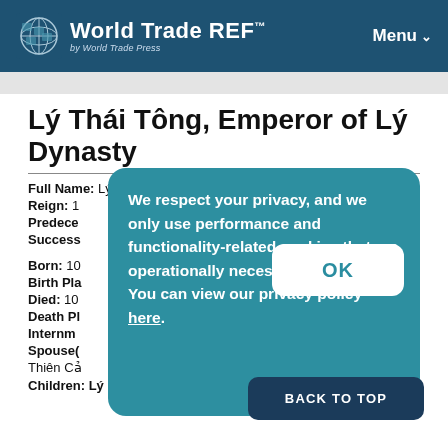World Trade REF™ — by World Trade Press | Menu
Lý Thái Tông, Emperor of Lý Dynasty
Full Name: Lý Thái Tông
Reign: 1...
Predecessor: ...
Successor: ...
Born: 10...
Birth Place: ...
Died: 10...
Death Place: ...
Interment: ...
Spouse(s): Thiên Cả...
Children: Lý Nhật Tôn; Phụng Càn Lý Nhật Trung; Bình...
[Figure (screenshot): Cookie consent overlay with teal background, OK button, and Back to Top button. Text: We respect your privacy, and we only use performance and functionality-related cookies that are operationally necessary. You can view our privacy policy here.]